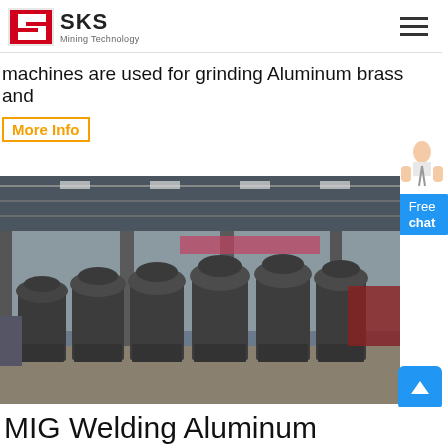SKS Mining Technology
machines are used for grinding Aluminum brass and
More Info
[Figure (photo): Industrial factory floor showing multiple large dark grey vertical grinding mill machines lined up inside a steel-frame warehouse/factory building with overhead lighting.]
MIG Welding Aluminum